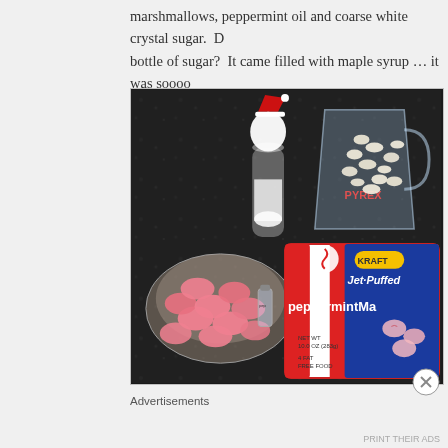marshmallows, peppermint oil and coarse white crystal sugar.  D... bottle of sugar?  It came filled with maple syrup … it was soooo...
[Figure (photo): Photo of baking ingredients on a dark granite countertop: a Santa hat figurine holding a glass container of sugar, a Pyrex measuring cup filled with white chocolate chips, a small bowl of pink candy melts with a small bottle of peppermint oil, and a Kraft Jet-Puffed Peppermint Marshmallows bag.]
Advertisements